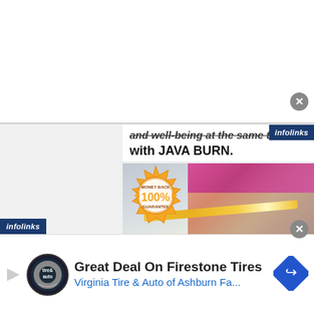[Figure (screenshot): Top white advertisement banner area]
[Figure (screenshot): Infolinks badge top right]
and well-being at the same time
with JAVA BURN.
[Figure (photo): Woman in pink sports bra measuring waist with tape measure, with 100% Money Back Guarantee badge overlay]
[Figure (screenshot): Infolinks badge bottom left]
[Figure (screenshot): Close button bottom right]
[Figure (infographic): Bottom ad bar: Great Deal On Firestone Tires - Virginia Tire & Auto of Ashburn Fa... with tire/auto logo and navigation arrow icon]